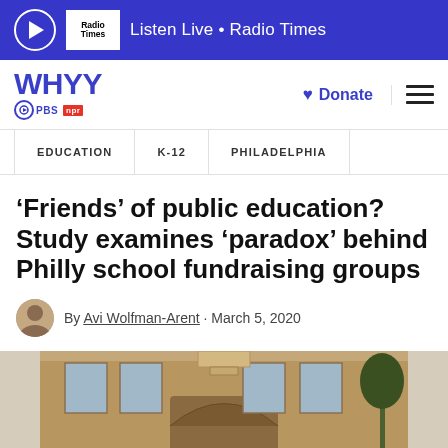Listen Live • Radio Times
[Figure (logo): WHYY PBS NPR logo with donate button and hamburger menu]
EDUCATION | K-12 | PHILADELPHIA
'Friends' of public education? Study examines 'paradox' behind Philly school fundraising groups
By Avi Wolfman-Arent · March 5, 2020
[Figure (photo): Exterior of a brick school building with arched entry, photographed from below]